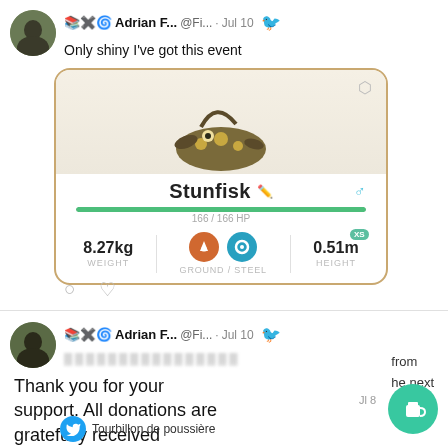Adrian F... @Fi... · Jul 10 — Only shiny I've got this event
[Figure (screenshot): Pokemon Go Stunfisk card: Stunfisk, 166/166 HP, 8.27kg weight, Ground/Steel types, 0.51m height, XS badge, male gender icon, green HP bar]
Adrian F... @Fi... · Jul 10 — Thank you for your support. All donations are gratefully received | from he next dust
Tourbillon de poussière